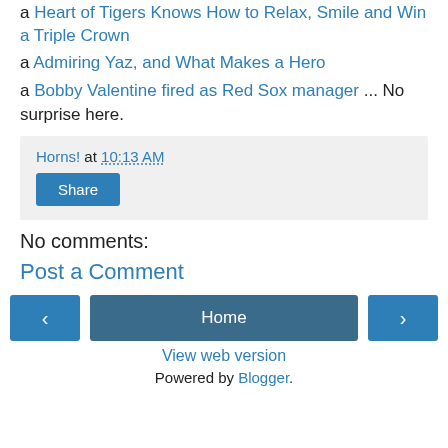a Heart of Tigers Knows How to Relax, Smile and Win a Triple Crown
a Admiring Yaz, and What Makes a Hero
a Bobby Valentine fired as Red Sox manager ... No surprise here.
Horns! at 10:13 AM
Share
No comments:
Post a Comment
‹ Home ›
View web version
Powered by Blogger.